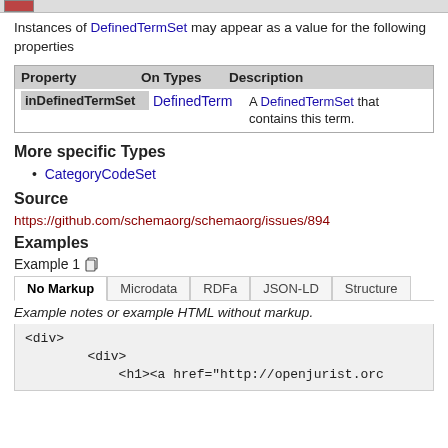Instances of DefinedTermSet may appear as a value for the following properties
| Property | On Types | Description |
| --- | --- | --- |
| inDefinedTermSet | DefinedTerm | A DefinedTermSet that contains this term. |
More specific Types
CategoryCodeSet
Source
https://github.com/schemaorg/schemaorg/issues/894
Examples
Example 1
Example notes or example HTML without markup.
<div>
    <div>
        <h1><a href="http://openjurist.org